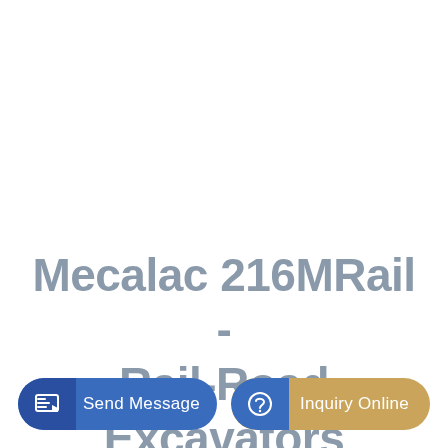Mecalac 216MRail - Rail-Road Excavators
Send Message
Inquiry Online